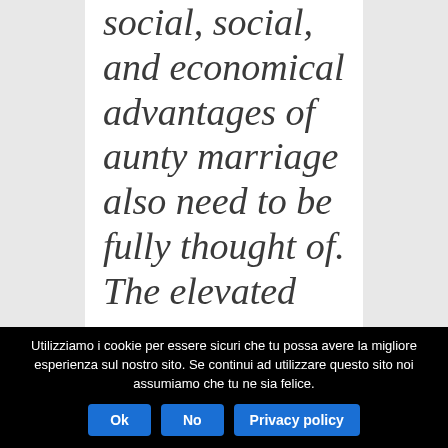social, social, and economical advantages of aunty marriage also need to be fully thought of. The elevated
Utilizziamo i cookie per essere sicuri che tu possa avere la migliore esperienza sul nostro sito. Se continui ad utilizzare questo sito noi assumiamo che tu ne sia felice.